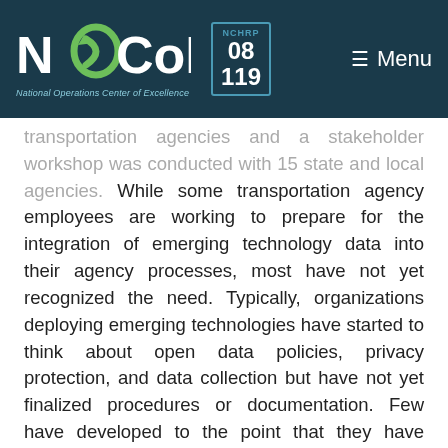NOCoE — National Operations Center of Excellence | NCHRP 08 119 | Menu
transportation agencies and a stakeholder workshop was conducted with 15 state and local agencies. While some transportation agency employees are working to prepare for the integration of emerging technology data into their agency processes, most have not yet recognized the need. Typically, organizations deploying emerging technologies have started to think about open data policies, privacy protection, and data collection but have not yet finalized procedures or documentation. Few have developed to the point that they have metadata catalogs, database diagrams, or comprehensive data quality monitoring in place. In addition, many agencies lack the technical, culture, policy, and legal experience needed to deal with such data and are currently relying on their contractors for data management. This research identified